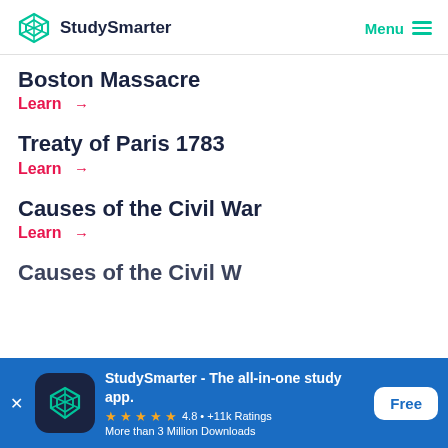StudySmarter | Menu
Boston Massacre
Learn →
Treaty of Paris 1783
Learn →
Causes of the Civil War
Learn →
Causes of...
StudySmarter - The all-in-one study app.
★★★★★ 4.8 • +11k Ratings
More than 3 Million Downloads